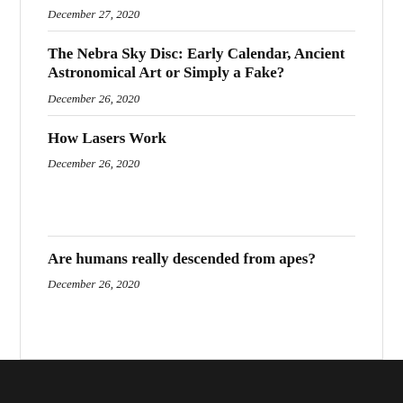December 27, 2020
The Nebra Sky Disc: Early Calendar, Ancient Astronomical Art or Simply a Fake?
December 26, 2020
How Lasers Work
December 26, 2020
Are humans really descended from apes?
December 26, 2020
[Figure (photo): Dark footer area with subtle background image/texture]